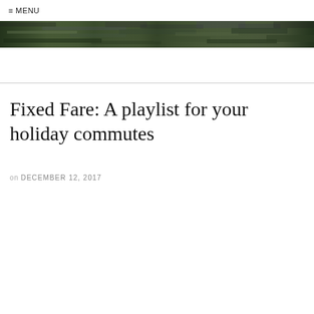≡ MENU
[Figure (photo): A narrow horizontal banner photo showing a blurred outdoor scene with green foliage and dark tones, serving as a decorative header image.]
Fixed Fare: A playlist for your holiday commutes
on DECEMBER 12, 2017